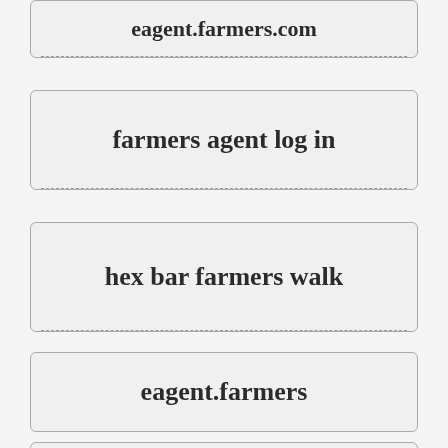eagent.farmers.com
farmers agent log in
hex bar farmers walk
eagent.farmers
epartner farmers